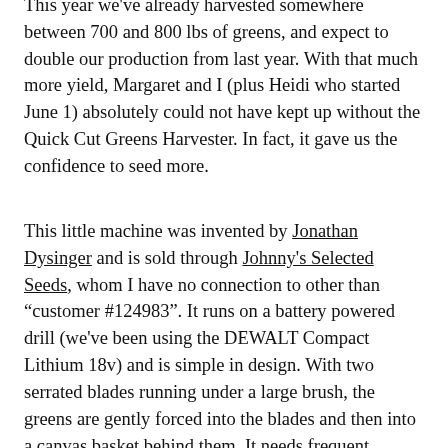This year we've already harvested somewhere between 700 and 800 lbs of greens, and expect to double our production from last year. With that much more yield, Margaret and I (plus Heidi who started June 1) absolutely could not have kept up without the Quick Cut Greens Harvester. In fact, it gave us the confidence to seed more.
This little machine was invented by Jonathan Dysinger and is sold through Johnny's Selected Seeds, whom I have no connection to other than "customer #124983". It runs on a battery powered drill (we've been using the DEWALT Compact Lithium 18v) and is simple in design. With two serrated blades running under a large brush, the greens are gently forced into the blades and then into a canvas basket behind them. It needs frequent dumping (into a box or tote) and can strain the back